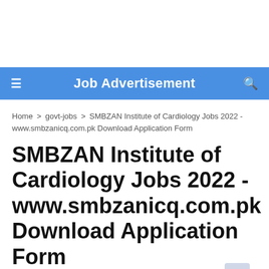Job Advertisement
Home > govt-jobs > SMBZAN Institute of Cardiology Jobs 2022 - www.smbzanicq.com.pk Download Application Form
SMBZAN Institute of Cardiology Jobs 2022 - www.smbzanicq.com.pk Download Application Form
Job Advertisement Website - June 22, 2022